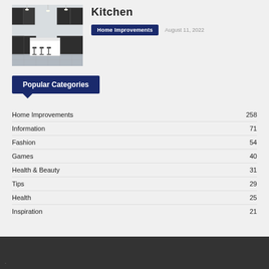[Figure (photo): Kitchen interior with dark cabinets, white island, and bar stools]
Kitchen
Home Improvements   August 11, 2022
Popular Categories
Home Improvements  258
Information  71
Fashion  54
Games  40
Health & Beauty  31
Tips  29
Health  25
Inspiration  21